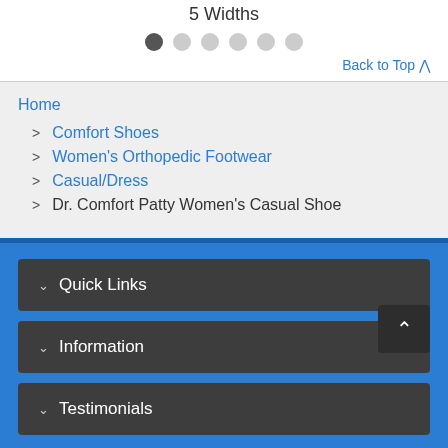5 Widths
Back to Top ^
Home
> Comfort Shoes
> Women's Orthopedic Footwear
> Casual/Dress
> Dr. Comfort Patty Women's Casual Shoe
Quick Links
Information
Testimonials